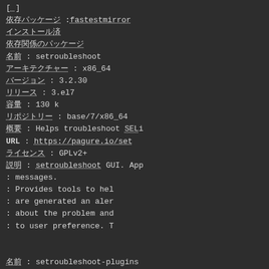[...                                            ]
依存パッケージ :fastestmirror
インストール済
依存関係のパッケージ
名前               : setroubleshoot
アーキテクチャー  : x86_64
バージョン        : 3.2.30
リリース          : 3.el7
容量              : 130 k
リポジトリー      : base/7/x86_64
概要              : Helps troubleshoot SELinux
URL               : https://pagure.io/setroubleshoot
ライセンス        : GPLv2+
説明              : setroubleshoot GUI. App
: messages.
: Provides tools to help
: are generated an aler
: about the problem and
: to user preference. T
名前              : setroubleshoot-plugins
アーキテクチャー  : noarch